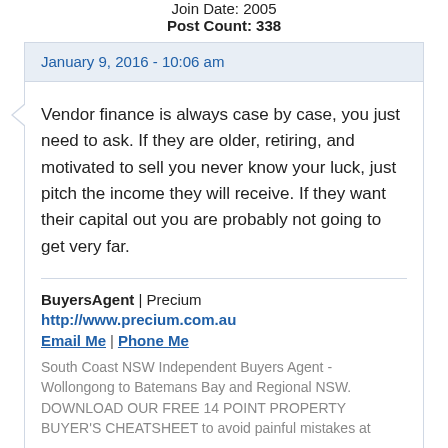Join Date: 2005
Post Count: 338
January 9, 2016 - 10:06 am
Vendor finance is always case by case, you just need to ask. If they are older, retiring, and motivated to sell you never know your luck, just pitch the income they will receive. If they want their capital out you are probably not going to get very far.
BuyersAgent | Precium
http://www.precium.com.au
Email Me | Phone Me
South Coast NSW Independent Buyers Agent - Wollongong to Batemans Bay and Regional NSW. DOWNLOAD OUR FREE 14 POINT PROPERTY BUYER'S CHEATSHEET to avoid painful mistakes at